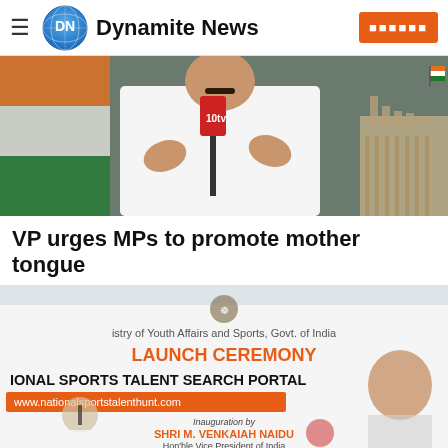Dynamite News
[Figure (photo): A man in white shirt speaking at a press conference with Indian flag in background and Parliament building visible; TV microphones in front]
VP urges MPs to promote mother tongue
[Figure (photo): Launch ceremony banner for National Sports Talent Search Portal by Ministry of Youth Affairs and Sports, Govt. of India, inaugurated by Shri M. Venkaiah Naidu, Hon'ble Vice President of India]